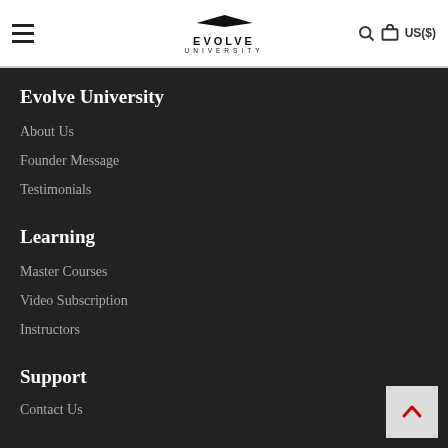Evolve University — navigation header with hamburger menu, logo, search icon, cart icon, US($)
Evolve University
About Us
Founder Message
Testimonials
Learning
Master Courses
Video Subscription
Instructors
Support
Contact Us